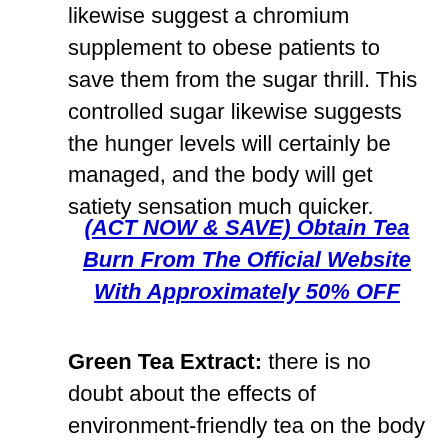likewise suggest a chromium supplement to obese patients to save them from the sugar thrill. This controlled sugar likewise suggests the hunger levels will certainly be managed, and the body will get satiety sensation much quicker.
(ACT NOW & SAVE) Obtain Tea Burn From The Official Website With Approximately 50% OFF
Green Tea Extract: there is no doubt about the effects of environment-friendly tea on the body as it is just one of the most significant contributors to weight reduction. Hundreds of researches can validate the results of environment-friendly tea on easing inflammation from the body. Its normally occurring anti-oxidants clean the body and also